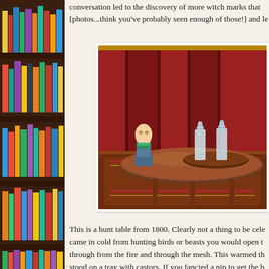[Figure (illustration): Bookshelf with colorful books on left side of page]
conversation led to the discovery of more witch marks that [photos...think you've probably seen enough of those!] and le
[Figure (photo): A hunt table from 1800 with crystal decanters on a tray and a decorative bust, set against red curtains and an ornate rug]
This is a hunt table from 1800. Clearly not a thing to be cele came in cold from hunting birds or beasts you would open t through from the fire and through the mesh. This warmed th stood on a tray with castors. If you fancied a nip to get the b serve yourself.